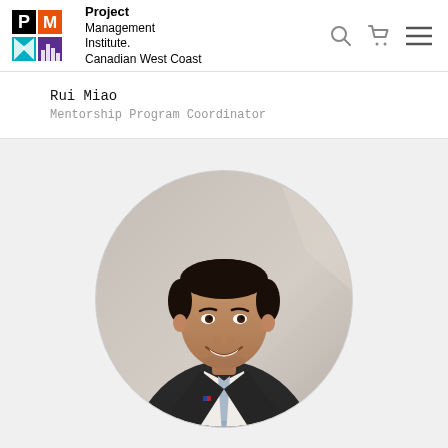Project Management Institute. Canadian West Coast
Rui Miao
Mentorship Program Coordinator
[Figure (photo): Circular cropped headshot photo of Rui Miao, a man in a dark suit and light blue tie, smiling, against a light background.]